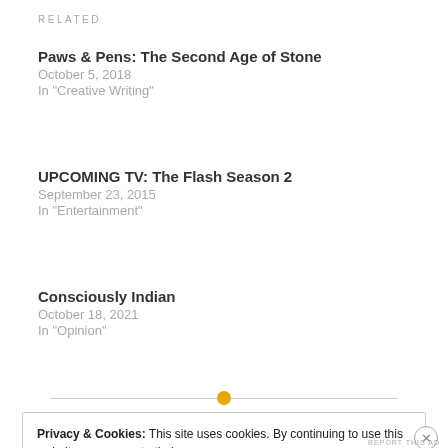RELATED
Paws & Pens: The Second Age of Stone
October 5, 2018
In "Creative Writing"
UPCOMING TV: The Flash Season 2
September 23, 2015
In "Entertainment"
Consciously Indian
October 18, 2021
In "Opinion"
Privacy & Cookies: This site uses cookies. By continuing to use this website, you agree to their use.
To find out more, including how to control cookies, see here: Cookie Policy
Close and accept
REPORT THIS AD